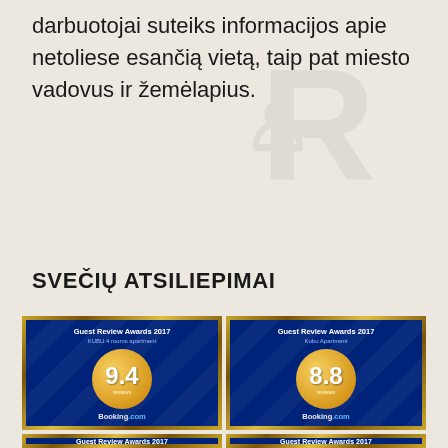darbuotojai suteiks informacijos apie netoliese esančią vietą, taip pat miesto vadovus ir žemėlapius.
SVEČIŲ ATSILIEPIMAI
[Figure (other): Two Booking.com Guest Review Awards 2017 in ornate gold frames. Left award for KUBU 4 rooms apartment showing score 9.4, right award for Kubu Apartment showing score 8.8. Below are partial views of two more award frames showing 'Guest Review Awards 2017' text.]